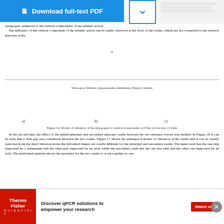synagogue, subjected to the vertical components of the seismic action. The influence of the vertical component of the seismic action can be easily observed at the level of the vaults, which are not connected to the exterior masonry walls.
9
Mosoarca Marius; Anastasiadis Anthimos; Petrus Cristian
Figure 16: Modes of vibration of the synagogue to vertical components: a) First; b) Second; c) Sixth
In the second step, the effect of the untied principal and secondary masonry vaults between the two entrance towers was studied. In Figure 16 it can be seen that a 3cm gap was considered between the two vaults. Figure 17 shows the principal 6 modes of vibration of the vaults and it can be clearly seen that from the third vibration mode the deformed shapes are totally different for the principal and secondary vaults. The main vault has the one side supported by a tympanum and the other part supported by an arch, while the secondary vault has the one free side and the other one supported by an arch. The performed analysis shows the necessity for the two vaults to work together as one.